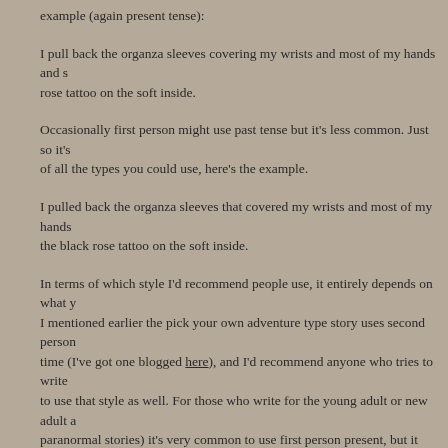example (again present tense):
I pull back the organza sleeves covering my wrists and most of my hands and s… rose tattoo on the soft inside.
Occasionally first person might use past tense but it's less common. Just so it's of all the types you could use, here's the example.
I pulled back the organza sleeves that covered my wrists and most of my hands… the black rose tattoo on the soft inside.
In terms of which style I'd recommend people use, it entirely depends on what y… I mentioned earlier the pick your own adventure type story uses second person… time (I've got one blogged here), and I'd recommend anyone who tries to write … to use that style as well. For those who write for the young adult or new adult a… paranormal stories) it's very common to use first person present, but it can also… those punchy stories from strange perspectives where you really want the read… mindset of the main character and get into their head. If you're a relatively new … a lot of first person present you will probably find this format easiest as well, alt… to get right. For everything else, mostly because that's what those genres expe… easiest to get right, use third person past.